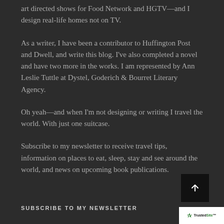art directed shows for Food Network and HGTV—and I design real-life homes not on TV.
As a writer, I have been a contributor to Huffington Post and Dwell, and write this blog. I've also completed a novel and have two more in the works. I am represented by Ann Leslie Tuttle at Dystel, Goderich & Bourret Literary Agency.
Oh yeah—and when I'm not designing or writing I travel the world. With just one suitcase.
Subscribe to my newsletter to receive travel tips, information on places to eat, sleep, stay and see around the world, and news on upcoming book publications.
SUBSCRIBE TO MY NEWSLETTER